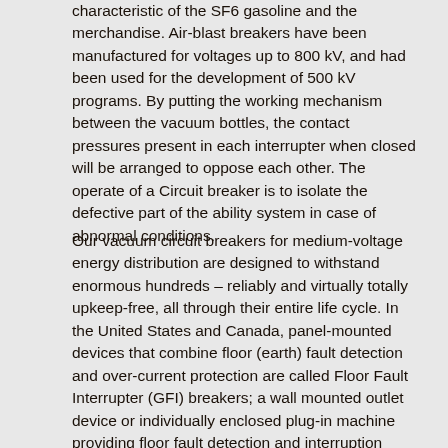characteristic of the SF6 gasoline and the merchandise. Air-blast breakers have been manufactured for voltages up to 800 kV, and had been used for the development of 500 kV programs. By putting the working mechanism between the vacuum bottles, the contact pressures present in each interrupter when closed will be arranged to oppose each other. The operate of a Circuit breaker is to isolate the defective part of the ability system in case of abnormal conditions.
Our vacuum circuit breakers for medium-voltage energy distribution are designed to withstand enormous hundreds – reliably and virtually totally upkeep-free, all through their entire life cycle. In the United States and Canada, panel-mounted devices that combine floor (earth) fault detection and over-current protection are called Floor Fault Interrupter (GFI) breakers; a wall mounted outlet device or individually enclosed plug-in machine providing floor fault detection and interruption solely (no overload safety) is known as a Ground Fault Circuit Interrupter(GFCI). Circuit breaker can be categorised as live tank", where the enclosure that contains the breaking mechanism is at line potential, or dead tank with the enclosure at earth potential. Furthermore, the report presents two